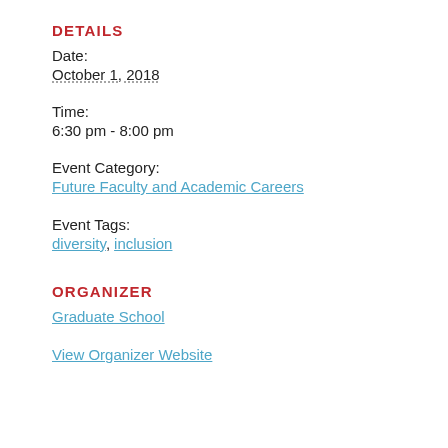DETAILS
Date:
October 1, 2018
Time:
6:30 pm - 8:00 pm
Event Category:
Future Faculty and Academic Careers
Event Tags:
diversity, inclusion
ORGANIZER
Graduate School
View Organizer Website